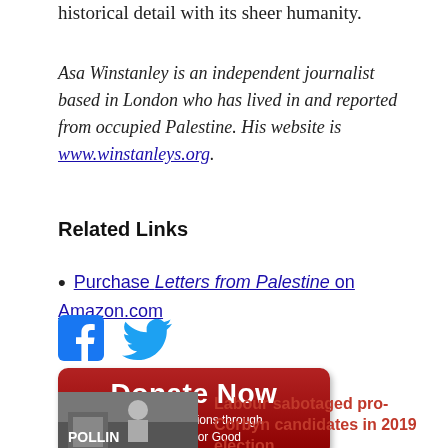historical detail with its sheer humanity.
Asa Winstanley is an independent journalist based in London who has lived in and reported from occupied Palestine. His website is www.winstanleys.org.
Related Links
Purchase Letters from Palestine on Amazon.com
[Figure (logo): Facebook and Twitter social media icons]
[Figure (other): Donate Now button - Secure donations through Network for Good]
[Figure (photo): Thumbnail photo of a man at a polling station]
Labour sabotaged pro-Corbyn candidates in 2019 election